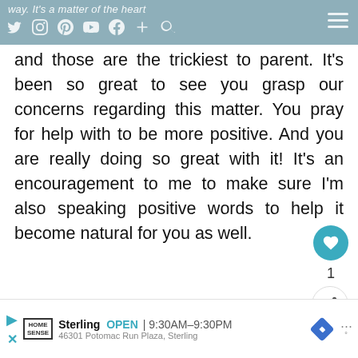way. It's a matter of the heart
and those are the trickiest to parent. It's been so great to see you grasp our concerns regarding this matter. You pray for help with to be more positive. And you are really doing so great with it! It's an encouragement to me to make sure I'm also speaking positive words to help it become natural for you as well.
[Figure (screenshot): Advertisement bar at the bottom showing Home Sense store in Sterling, OPEN 9:30AM-9:30PM, 46301 Potomac Run Plaza, Sterling]